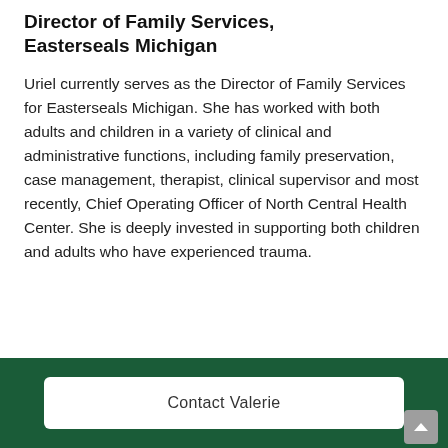Director of Family Services, Easterseals Michigan
Uriel currently serves as the Director of Family Services for Easterseals Michigan. She has worked with both adults and children in a variety of clinical and administrative functions, including family preservation, case management, therapist, clinical supervisor and most recently, Chief Operating Officer of North Central Health Center. She is deeply invested in supporting both children and adults who have experienced trauma.
Contact Valerie